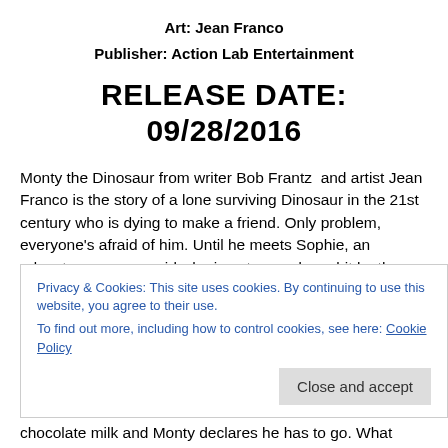Art: Jean Franco
Publisher: Action Lab Entertainment
RELEASE DATE: 09/28/2016
Monty the Dinosaur from writer Bob Frantz  and artist Jean Franco is the story of a lone surviving Dinosaur in the 21st century who is dying to make a friend. Only problem, everyone’s afraid of him. Until he meets Sophie, an adventurous young girl who is not scared one bit by the friendly dinosaur. With new friend Sophie, Monty isn’t alone anymore. Issue one is broken up into two short stories. First, how Monty met Sophie and in the second story Monty and Sophie attend a
Privacy & Cookies: This site uses cookies. By continuing to use this website, you agree to their use.
To find out more, including how to control cookies, see here: Cookie Policy
chocolate milk and Monty declares he has to go. What